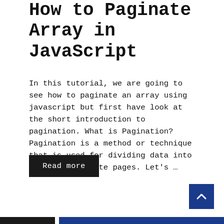How to Paginate Array in JavaScript
In this tutorial, we are going to see how to paginate an array using javascript but first have look at the short introduction to pagination. What is Pagination? Pagination is a method or technique that is used for dividing data into multiple separate pages. Let's …
Read more
[Figure (other): Scroll-to-top button: a dark blue square with a white upward-pointing chevron arrow]